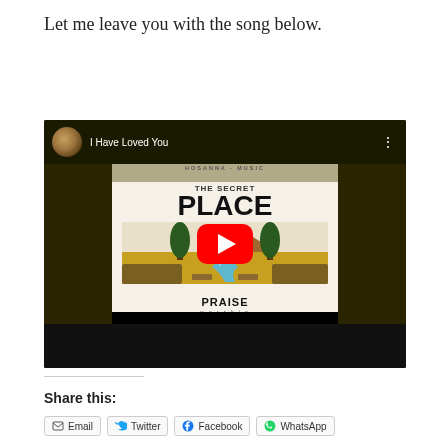Let me leave you with the song below.
[Figure (screenshot): YouTube video embed showing 'I Have Loved You' with album art for 'The Secret Place – Praise Worship' featuring a red YouTube play button overlay on top of illustrated album art with trees, a mountain, and a river.]
Share this:
Email
Twitter
Facebook
WhatsApp